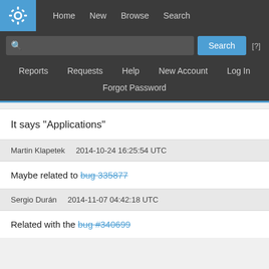KDE Logo | Home  New  Browse  Search
Search  [?]
Reports  Requests  Help  New Account  Log In
Forgot Password
It says "Applications"
Martin Klapetek    2014-10-24 16:25:54 UTC
Maybe related to bug 335877
Sergio Durán    2014-11-07 04:42:18 UTC
Related with the bug #340699